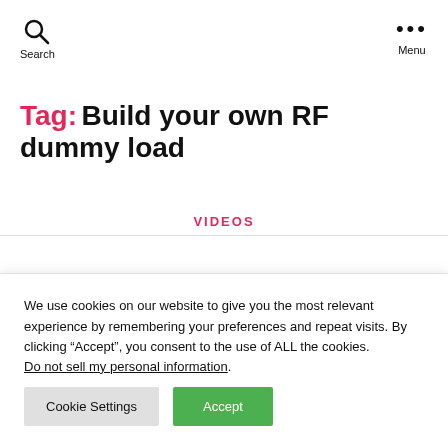Search  Menu
Tag: Build your own RF dummy load
VIDEOS
We use cookies on our website to give you the most relevant experience by remembering your preferences and repeat visits. By clicking “Accept”, you consent to the use of ALL the cookies. Do not sell my personal information.